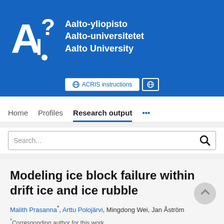[Figure (logo): Aalto University logo with white A? symbol and three lines of text: Aalto-yliopisto, Aalto-universitetet, Aalto University on blue background]
[Figure (screenshot): Navigation bar with ACRIS instructions button, globe icon button, Home, Profiles, Research output (active), and more menu items, plus a search bar]
Modeling ice block failure within drift ice and ice rubble
Malith Prasanna*, Arttu Polojärvi, Mingdong Wei, Jan Åström
*Corresponding author for this work